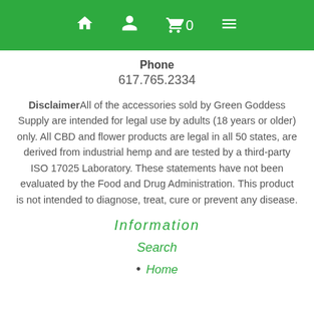Navigation bar with home, account, cart (0), and menu icons
Phone
617.765.2334
Disclaimer All of the accessories sold by Green Goddess Supply are intended for legal use by adults (18 years or older) only. All CBD and flower products are legal in all 50 states, are derived from industrial hemp and are tested by a third-party ISO 17025 Laboratory. These statements have not been evaluated by the Food and Drug Administration. This product is not intended to diagnose, treat, cure or prevent any disease.
Information
Search
Home